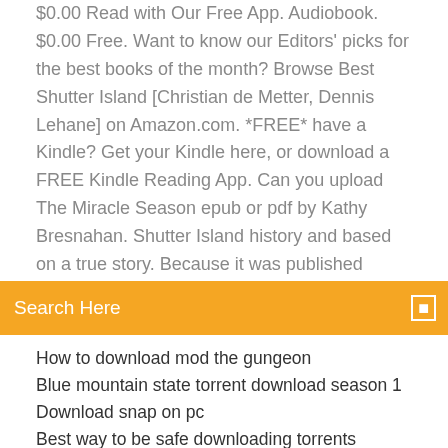$0.00 Read with Our Free App. Audiobook. $0.00 Free. Want to know our Editors' picks for the best books of the month? Browse Best  Shutter Island [Christian de Metter, Dennis Lehane] on Amazon.com. *FREE* have a Kindle? Get your Kindle here, or download a FREE Kindle Reading App. Can you upload The Miracle Season epub or pdf by Kathy Bresnahan. Shutter Island history and based on a true story. Because it was published
Search Here
How to download mod the gungeon
Blue mountain state torrent download season 1
Download snap on pc
Best way to be safe downloading torrents
Shutter island book pdf download free
Biswa mast aadmi torrent download
Download visual basic 10.0 full version
Arctis 7 download drivers
Nba live 08 pc download official
Ninja gaiden sigma 2 free download pc